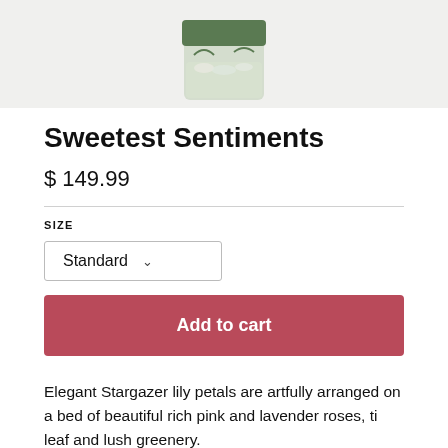[Figure (photo): Product photo of a floral arrangement in a glass vase with a green lid, containing white and green flowers/petals, partially cropped at top of page]
Sweetest Sentiments
$ 149.99
SIZE
Standard
Add to cart
Elegant Stargazer lily petals are artfully arranged on a bed of beautiful rich pink and lavender roses, ti leaf and lush greenery.